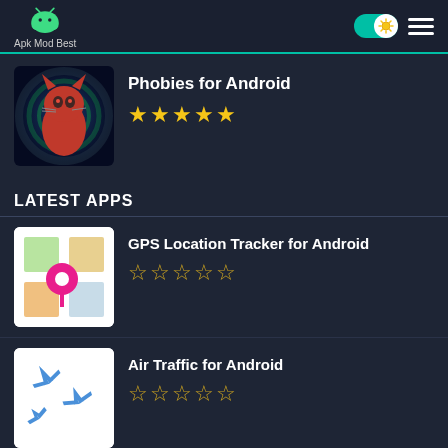Apk Mod Best
Phobies for Android — 5 stars (filled)
LATEST APPS
GPS Location Tracker for Android — 0 stars (empty)
Air Traffic for Android — 0 stars (empty)
Death Race: Crash Burn for Android